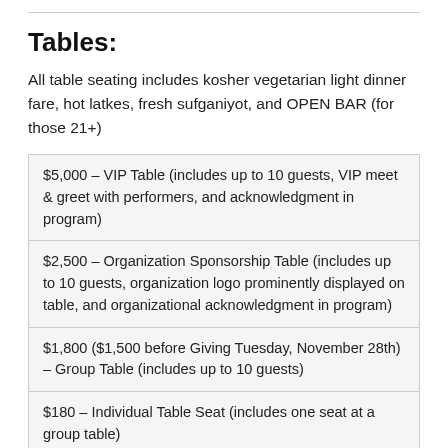Tables:
All table seating includes kosher vegetarian light dinner fare, hot latkes, fresh sufganiyot, and OPEN BAR (for those 21+)
| $5,000 – VIP Table (includes up to 10 guests, VIP meet & greet with performers, and acknowledgment in program) |
| $2,500 – Organization Sponsorship Table (includes up to 10 guests, organization logo prominently displayed on table, and organizational acknowledgment in program) |
| $1,800 ($1,500 before Giving Tuesday, November 28th) – Group Table (includes up to 10 guests) |
| $180 – Individual Table Seat (includes one seat at a group table) |